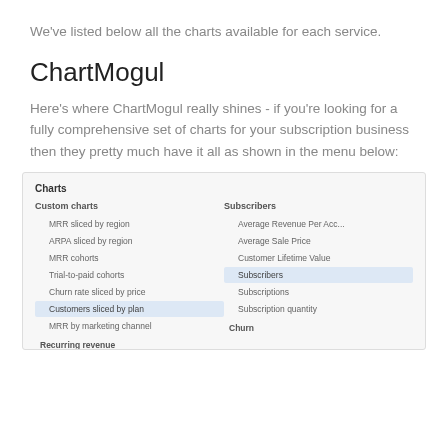We've listed below all the charts available for each service.
ChartMogul
Here's where ChartMogul really shines - if you're looking for a fully comprehensive set of charts for your subscription business then they pretty much have it all as shown in the menu below:
[Figure (screenshot): Screenshot of ChartMogul Charts menu showing Custom charts (MRR sliced by region, ARPA sliced by region, MRR cohorts, Trial-to-paid cohorts, Churn rate sliced by price, Customers sliced by plan highlighted, MRR by marketing channel, Recurring revenue) and Subscribers section (Average Revenue Per Acc..., Average Sale Price, Customer Lifetime Value, Subscribers highlighted, Subscriptions, Subscription quantity) and Churn section header.]